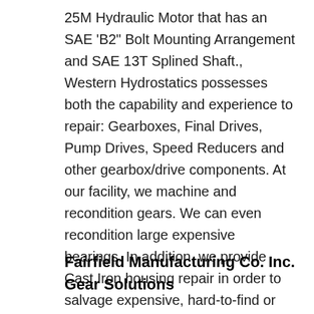25M Hydraulic Motor that has an SAE 'B2" Bolt Mounting Arrangement and SAE 13T Splined Shaft., Western Hydrostatics possesses both the capability and experience to repair: Gearboxes, Final Drives, Pump Drives, Speed Reducers and other gearbox/drive components. At our facility, we machine and recondition gears. We can even recondition large expensive bearings. In addition, we provide Cast Iron housing repair in order to salvage expensive, hard-to-find or obsolete housings. We haveвЂ¦.
Fairfield Manufacturing Co. Inc. Gear Solutions